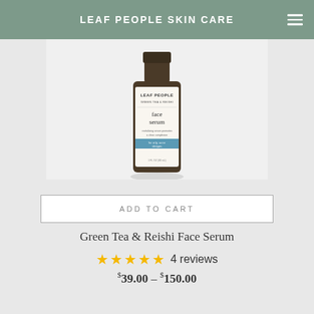LEAF PEOPLE SKIN CARE
[Figure (photo): A dark amber glass bottle of Leaf People Green Tea & Berry face serum with a label reading 'face serum', shown on a white/light gray background]
ADD TO CART
Green Tea & Reishi Face Serum
4 reviews
$39.00 – $150.00